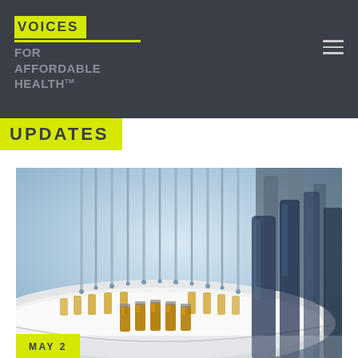Voices for Affordable Health™
UPDATES
[Figure (photo): Pharmaceutical manufacturing conveyor with small amber glass vials/bottles arranged on a rotating white carousel platform, with metal filling needles above, in a clean-room laboratory setting.]
MAY 2